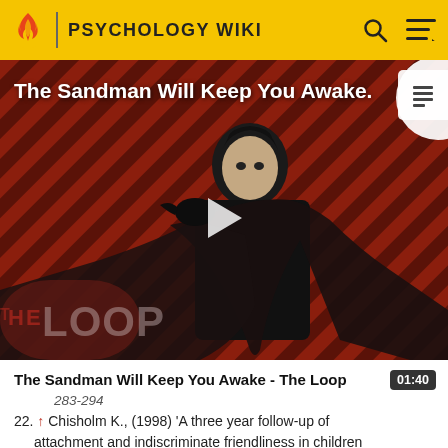PSYCHOLOGY WIKI
[Figure (screenshot): Video thumbnail for 'The Sandman Will Keep You Awake - The Loop' showing a dark-cloaked figure against a red diagonal striped background with 'THE LOOP' text and a play button overlay]
The Sandman Will Keep You Awake - The Loop   01:40
283-294
22. ↑ Chisholm K., (1998) 'A three year follow-up of attachment and indiscriminate friendliness in children adopted from Romanian orphanages'